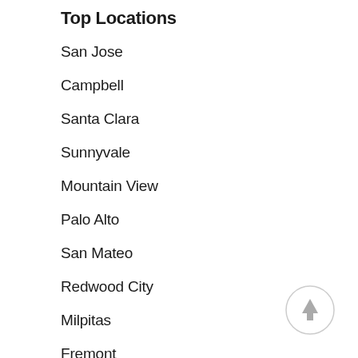Top Locations
San Jose
Campbell
Santa Clara
Sunnyvale
Mountain View
Palo Alto
San Mateo
Redwood City
Milpitas
Fremont
Foster City
Cupertino
[Figure (illustration): Circular scroll-to-top button with an upward arrow icon, light gray border, white background]